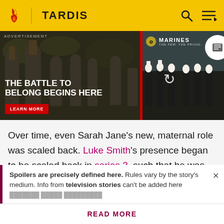TARDIS
[Figure (screenshot): Marines recruitment advertisement banner: left side shows soldiers in camouflage at boot camp with text 'THE BATTLE TO BELONG BEGINS HERE' and a red LEARN MORE button. Right side shows Marines logo 'THE FEW. THE PROUD.' with soldiers in dress uniform.]
Over time, even Sarah Jane's new, maternal role was scaled back. Luke Smith's presence began to be scaled back in series 3, such that he was largely absent from several episodes. By series 4, he was said to be in university a year earlier than the two other kids and was
Spoilers are precisely defined here. Rules vary by the story's medium. Info from television stories can't be added here
READ MORE